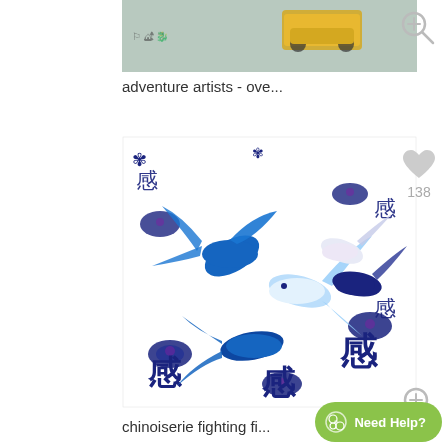[Figure (photo): Partial top image showing adventure artists pattern with illustrated vehicles and teal background]
adventure artists - ove...
[Figure (illustration): Chinoiserie fighting fish pattern — blue betta fish with Chinese characters and lotus flowers on white background, with a heart/like icon showing 138 likes]
chinoiserie fighting fi...
[Figure (photo): Partial bottom image showing greeting card or pattern with light teal and pink colors]
Need Help?